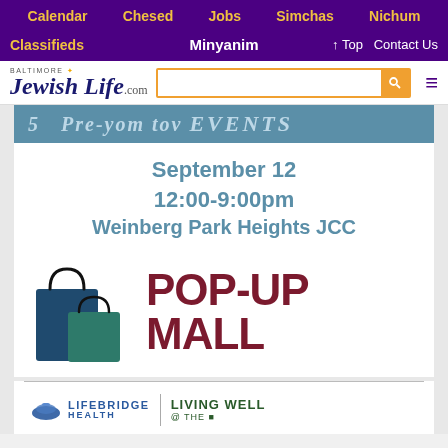Calendar | Chesed | Jobs | Simchas | Nichum | Classifieds | Minyanim | Top | Contact Us
[Figure (screenshot): Baltimore Jewish Life .com logo with search bar and hamburger menu]
[Figure (infographic): Pre-Yom Tov Events banner with number 5]
September 12
12:00-9:00pm
Weinberg Park Heights JCC
[Figure (illustration): Two shopping bags (dark blue/teal) next to POP-UP MALL text]
[Figure (logo): LifeBridge Health and Living Well sponsor logos]